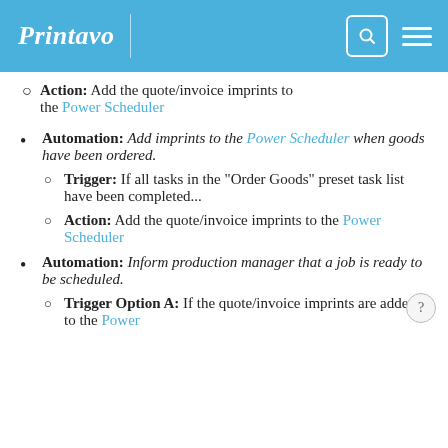Printavo
Action: Add the quote/invoice imprints to the Power Scheduler
Automation: Add imprints to the Power Scheduler when goods have been ordered.
Trigger: If all tasks in the "Order Goods" preset task list have been completed...
Action: Add the quote/invoice imprints to the Power Scheduler
Automation: Inform production manager that a job is ready to be scheduled.
Trigger Option A: If the quote/invoice imprints are added to the Power